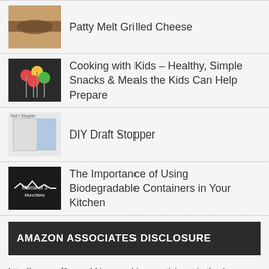Patty Melt Grilled Cheese
Cooking with Kids – Healthy, Simple Snacks & Meals the Kids Can Help Prepare
DIY Draft Stopper
The Importance of Using Biodegradable Containers in Your Kitchen
AMAZON ASSOCIATES DISCLOSURE
http://mamaof3munchkins.com/ is a participant in the Amazon Services LLC Associates Program, an affiliate